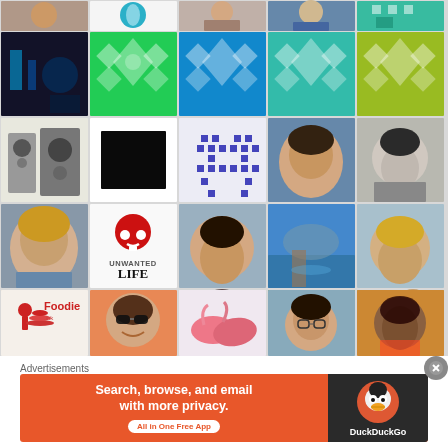[Figure (screenshot): Grid of social media profile photos and avatars including people, patterned/geometric avatars, logos (Foodie app, Unwanted Life blog), and decorative icons arranged in a 5-column by 8-row grid.]
Advertisements
[Figure (infographic): DuckDuckGo advertisement banner: orange background with text 'Search, browse, and email with more privacy. All in One Free App' and DuckDuckGo duck logo on dark right panel with 'DuckDuckGo' text.]